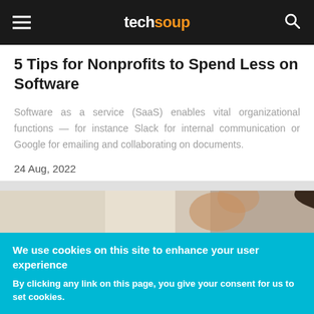techsoup
5 Tips for Nonprofits to Spend Less on Software
Software as a service (SaaS) enables vital organizational functions — for instance Slack for internal communication or Google for emailing and collaborating on documents.
24 Aug, 2022
[Figure (photo): Woman wearing glasses looking at something, partial view, indoor background]
We use cookies on this site to enhance your user experience
By clicking any link on this page, you give your consent for us to set cookies.